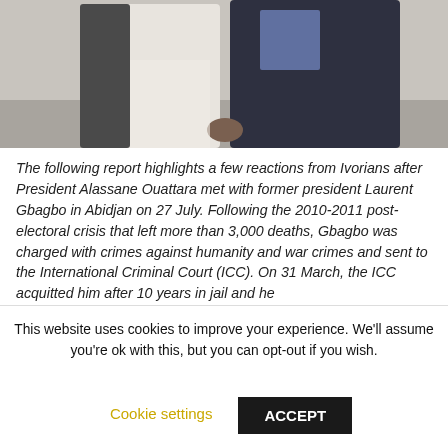[Figure (photo): Two men standing together, one wearing white traditional attire and one wearing a dark suit, photographed from torso up.]
The following report highlights a few reactions from Ivorians after President Alassane Ouattara met with former president Laurent Gbagbo in Abidjan on 27 July. Following the 2010-2011 post-electoral crisis that left more than 3,000 deaths, Gbagbo was charged with crimes against humanity and war crimes and sent to the International Criminal Court (ICC). On 31 March, the ICC acquitted him after 10 years in jail and he
This website uses cookies to improve your experience. We'll assume you're ok with this, but you can opt-out if you wish.
Cookie settings
ACCEPT